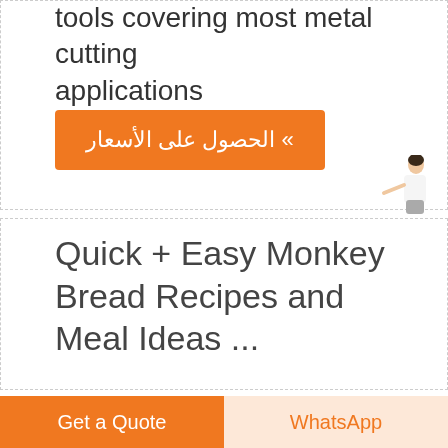tools covering most metal cutting applications
[Figure (other): Orange button with Arabic text: الحصول على الأسعار »]
[Figure (other): Chat widget with woman figure and blue 'Free chat' badge]
Quick + Easy Monkey Bread Recipes and Meal Ideas ...
[Figure (photo): Partial image strip at bottom of second section]
Get a Quote
WhatsApp